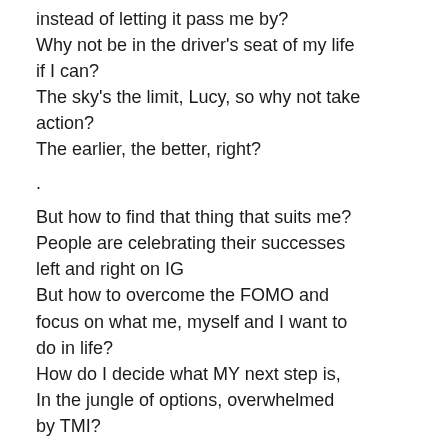instead of letting it pass me by?
Why not be in the driver's seat of my life if I can?
The sky's the limit, Lucy, so why not take action?
The earlier, the better, right?
.
But how to find that thing that suits me?
People are celebrating their successes left and right on IG
But how to overcome the FOMO and focus on what me, myself and I want to do in life?
How do I decide what MY next step is,
In the jungle of options, overwhelmed by TMI?
.
.